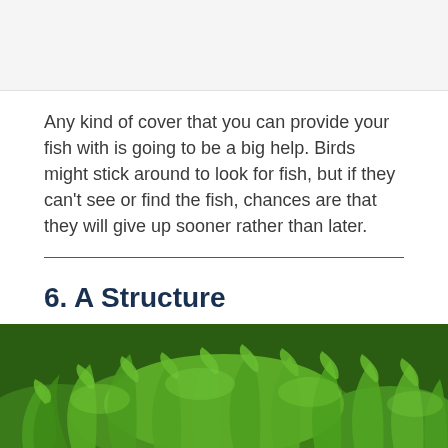[Figure (photo): Top portion of a photo, mostly white/light background visible at page top]
Any kind of cover that you can provide your fish with is going to be a big help. Birds might stick around to look for fish, but if they can't see or find the fish, chances are that they will give up sooner rather than later.
6. A Structure
[Figure (photo): Photo of lush green ferns growing densely, viewed from above]